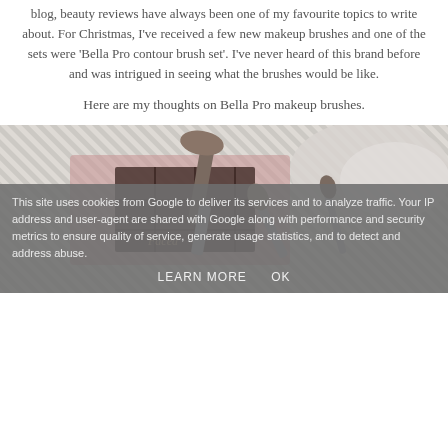blog, beauty reviews have always been one of my favourite topics to write about. For Christmas, I've received a few new makeup brushes and one of the sets were 'Bella Pro contour brush set'. I've never heard of this brand before and was intrigued in seeing what the brushes would be like.
Here are my thoughts on Bella Pro makeup brushes.
[Figure (photo): Photo of Bella Pro makeup brushes laid on a striped background next to a Too Faced palette and a fluffy grey surface]
This site uses cookies from Google to deliver its services and to analyze traffic. Your IP address and user-agent are shared with Google along with performance and security metrics to ensure quality of service, generate usage statistics, and to detect and address abuse.
LEARN MORE    OK